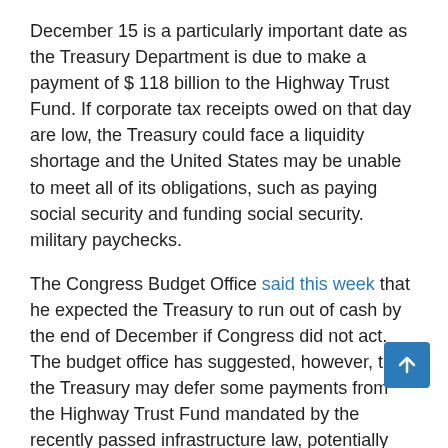December 15 is a particularly important date as the Treasury Department is due to make a payment of $ 118 billion to the Highway Trust Fund. If corporate tax receipts owed on that day are low, the Treasury could face a liquidity shortage and the United States may be unable to meet all of its obligations, such as paying social security and funding social security. military paychecks.
The Congress Budget Office said this week that he expected the Treasury to run out of cash by the end of December if Congress did not act. The budget office has suggested, however, that the Treasury may defer some payments from the Highway Trust Fund mandated by the recently passed infrastructure law, potentially avoiding a default until January.
Along with its updated projection, the Bipartisan Policy Center unveiled a new proposal for dealing with the debt limit, though it is unlikely to help lawmakers this time around.
Proposal, which is introduced by Rep. Jodey C. Arrington,